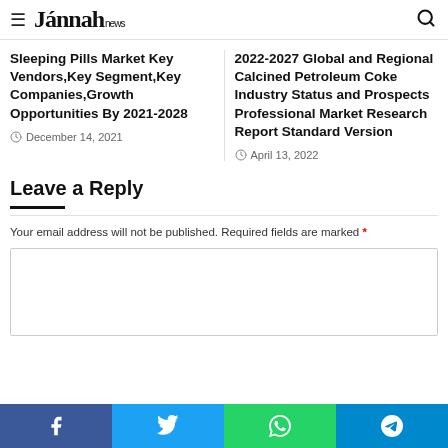Jannah news
Sleeping Pills Market Key Vendors,Key Segment,Key Companies,Growth Opportunities By 2021-2028
December 14, 2021
2022-2027 Global and Regional Calcined Petroleum Coke Industry Status and Prospects Professional Market Research Report Standard Version
April 13, 2022
Leave a Reply
Your email address will not be published. Required fields are marked *